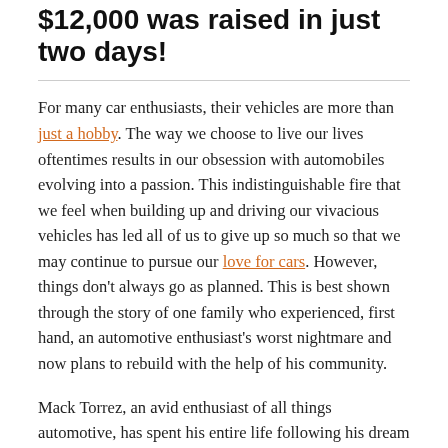$12,000 was raised in just two days!
For many car enthusiasts, their vehicles are more than just a hobby. The way we choose to live our lives oftentimes results in our obsession with automobiles evolving into a passion. This indistinguishable fire that we feel when building up and driving our vivacious vehicles has led all of us to give up so much so that we may continue to pursue our love for cars. However, things don't always go as planned. This is best shown through the story of one family who experienced, first hand, an automotive enthusiast's worst nightmare and now plans to rebuild with the help of his community.
Mack Torrez, an avid enthusiast of all things automotive, has spent his entire life following his dream of rebuilding classic cars and customizing them to his liking. However, that dream,